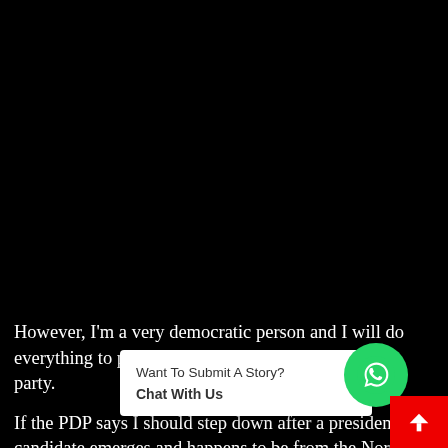[Figure (photo): Black image area occupying top portion of the page]
However, I'm a very democratic person and I will do everything to promote the interest and image of my party.
If the PDP says I should step down after a presidential candidate emerges and happens to be from the North, I